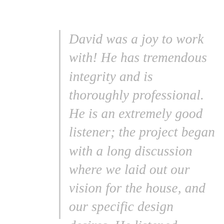David was a joy to work with! He has tremendous integrity and is thoroughly professional. He is an extremely good listener; the project began with a long discussion where we laid out our vision for the house, and our specific design desires. He listened closely and offered a proposal which was responsive to our needs and beyond. He was on...